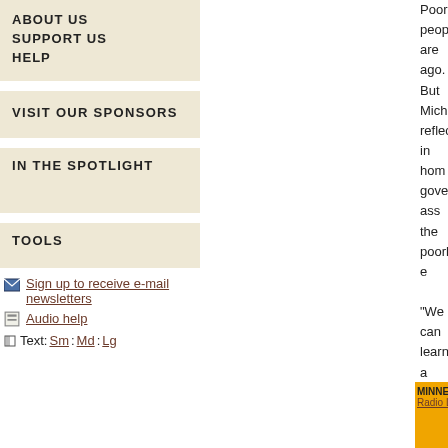ABOUT US
SUPPORT US
HELP
VISIT OUR SPONSORS
IN THE SPOTLIGHT
TOOLS
Sign up to receive e-mail newsletters
Audio help
Text: Sm : Md : Lg
Poor people are ago. But Michael reflected in hom government ass the poorhouse e
"We can learn a institutions to de the impossibility undeserving po by punishing po the long run."
MINNESOTA PUBLIC RADIO © 2022 | Home Radio Listening : News & Features : Events Calen...